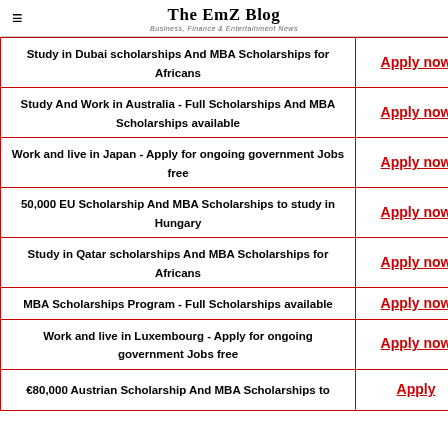The EmZ Blog — Business, Finance & Entertainment News
| Scholarship/Job Description | Action |
| --- | --- |
| Study in Dubai scholarships And MBA Scholarships for Africans | Apply now |
| Study And Work in Australia - Full Scholarships And MBA Scholarships available | Apply now |
| Work and live in Japan - Apply for ongoing government Jobs free | Apply now |
| 50,000 EU Scholarship And MBA Scholarships to study in Hungary | Apply now |
| Study in Qatar scholarships And MBA Scholarships for Africans | Apply now |
| MBA Scholarships Program - Full Scholarships available | Apply now |
| Work and live in Luxembourg - Apply for ongoing government Jobs free | Apply now |
| €80,000 Austrian Scholarship And MBA Scholarships to... | Apply |